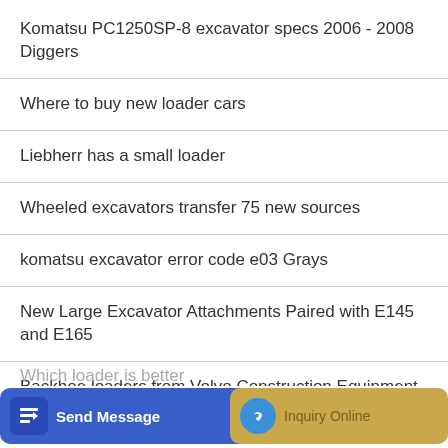Komatsu PC1250SP-8 excavator specs 2006 - 2008 Diggers
Where to buy new loader cars
Liebherr has a small loader
Wheeled excavators transfer 75 new sources
komatsu excavator error code e03 Grays
New Large Excavator Attachments Paired with E145 and E165
Backhoe loaders from Volvo Construction Equipment provide end-to
Which loader is better